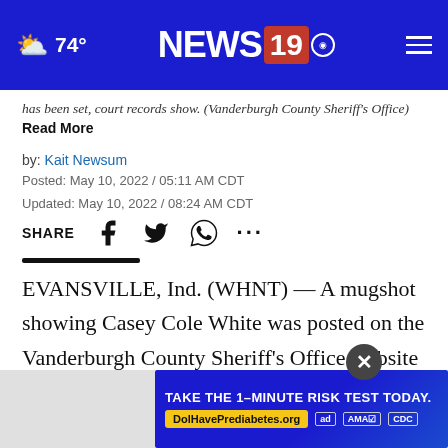74° NEWS 19
has been set, court records show. (Vanderburgh County Sheriff's Office) Read More
by: Kait Newsum
Posted: May 10, 2022 / 05:11 AM CDT
Updated: May 10, 2022 / 08:24 AM CDT
SHARE
EVANSVILLE, Ind. (WHNT) — A mugshot showing Casey Cole White was posted on the Vanderburgh County Sheriff's Office website around 1:42 Tuesday morning.
White ... nationwide ma... ble agencies
[Figure (other): Advertisement banner: TAKE THE 1-MINUTE RISK TEST TODAY. DolHavePrediabetes.org with ad, AMA, and CDC badges]